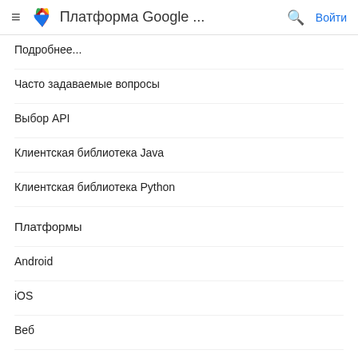Платформа Google ...
Подробнее...
Часто задаваемые вопросы
Выбор API
Клиентская библиотека Java
Клиентская библиотека Python
Платформы
Android
iOS
Веб
Веб-сервисы
Информация о продукте